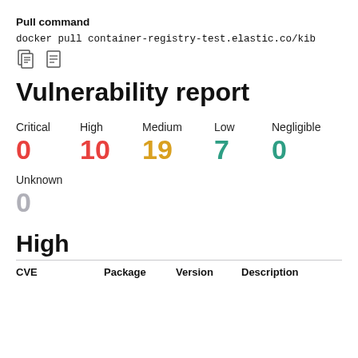Pull command
docker pull container-registry-test.elastic.co/kib
Vulnerability report
Critical 0  High 10  Medium 19  Low 7  Negligible 0
Unknown 0
High
| CVE | Package | Version | Description |
| --- | --- | --- | --- |